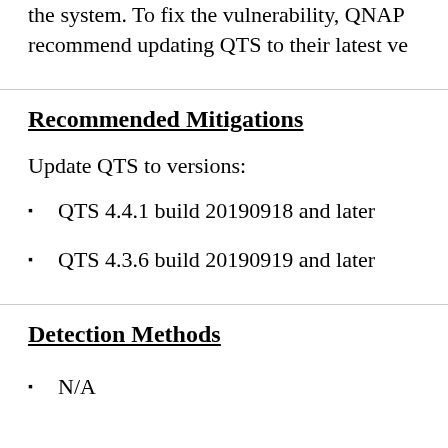the system. To fix the vulnerability, QNAP recommend updating QTS to their latest ve
Recommended Mitigations
Update QTS to versions:
QTS 4.4.1 build 20190918 and later
QTS 4.3.6 build 20190919 and later
Detection Methods
N/A